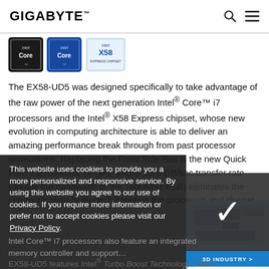GIGABYTE
[Figure (logo): Three chip/processor logos: Intel Core (dark), Intel Core (blue), X58 Express Chipset]
The EX58-UD5 was designed specifically to take advantage of the raw power of the next generation Intel® Core™ i7 processors and the Intel® X58 Express chipset, whose new evolution in computing architecture is able to deliver an amazing performance break through from past processor generations. Replacing the Front Side Bus is the new Quick Path Interconnect, or QPI, whose 25.6 GB/sec transfer rate (double the bandwidth of the 1600MHz FSB) eliminates the communication bottleneck between the processor and chipset.
[Figure (illustration): 3D Industry badge with motherboard illustration in bottom-right corner]
This website uses cookies to provide you a more personalized and responsive service. By using this website you agree to our use of cookies. If you require more information or prefer not to accept cookies please visit our Privacy Policy.
EX58-UD5 features Intel® Turbo Boost Technology, which